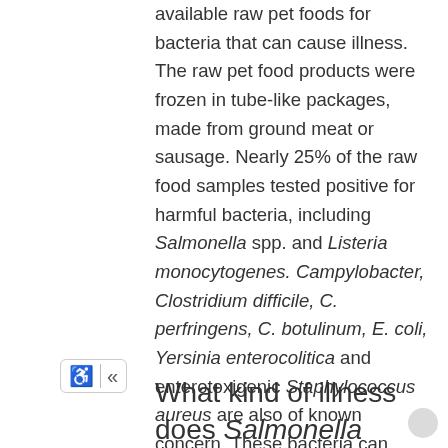available raw pet foods for bacteria that can cause illness. The raw pet food products were frozen in tube-like packages, made from ground meat or sausage. Nearly 25% of the raw food samples tested positive for harmful bacteria, including Salmonella spp. and Listeria monocytogenes. Campylobacter, Clostridium difficile, C. perfringens, C. botulinum, E. coli, Yersinia enterocolitica and enterotoxigenic Staphylococcus aureus are also of known concern. These bacteria can pose a health risk for the cats who eat the raw food, as well as for the cat owners who handle the food while preparing it.
What kind of illness does Salmonella cause?